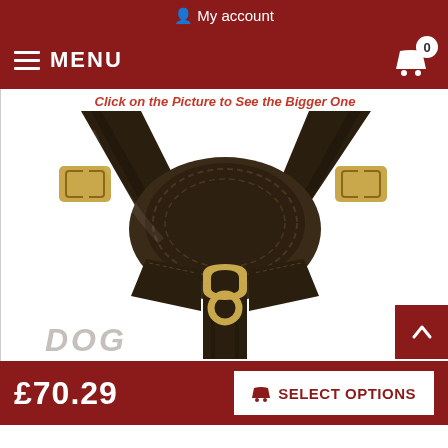My account
MENU  0
Click on the Picture to See the Bigger One
[Figure (photo): Close-up of a dark brown leather dog harness with brass buckles and fittings, showing padded chest plate and central D-ring connector, with 'DOG' text watermark at bottom left.]
DOG
£70.29  SELECT OPTIONS